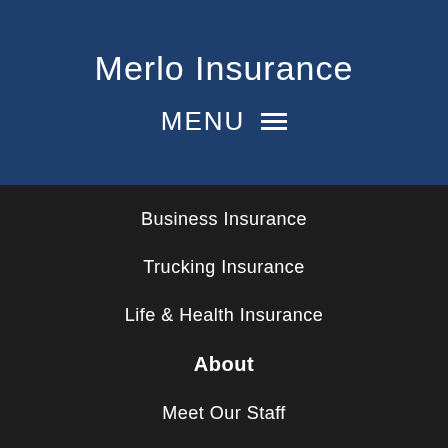Merlo Insurance
MENU ≡
Business Insurance
Trucking Insurance
Life & Health Insurance
About
Meet Our Staff